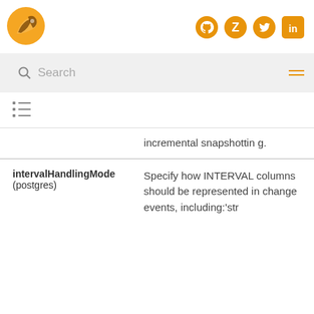Debezium logo and social icons (GitHub, Zulip, Twitter, LinkedIn)
Search
[Figure (other): Table of contents icon]
|  |  |
| --- | --- |
|  | incremental snapshotting. |
| intervalHandlingMode (postgres) | Specify how INTERVAL columns should be represented in change events, including:'str |